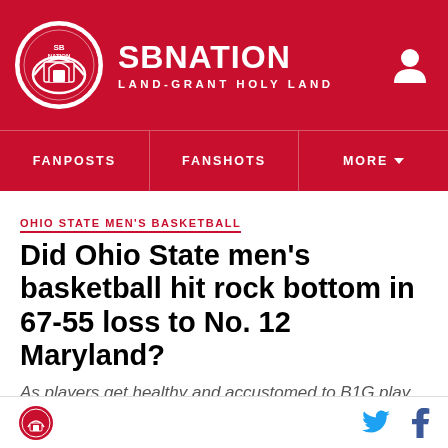SB NATION — LAND-GRANT HOLY LAND
FANPOSTS | FANSHOTS | MORE
OHIO STATE MEN'S BASKETBALL
Did Ohio State men's basketball hit rock bottom in 67-55 loss to No. 12 Maryland?
As players get healthy and accustomed to B1G play, things will get better... we hope.
SB Nation logo, Twitter and Facebook icons